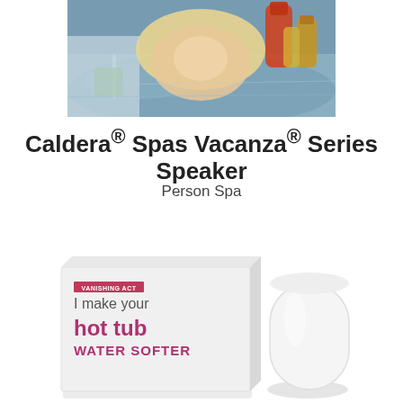[Figure (photo): Photo of a woman smiling and relaxing in a hot tub spa, with drinks and bottles visible nearby]
Caldera® Spas Vacanza® Series Speaker
Person Spa
[Figure (photo): Product photo showing a white box labeled 'VANISHING ACT - I make your hot tub WATER SOFTER' alongside a white cylindrical product]